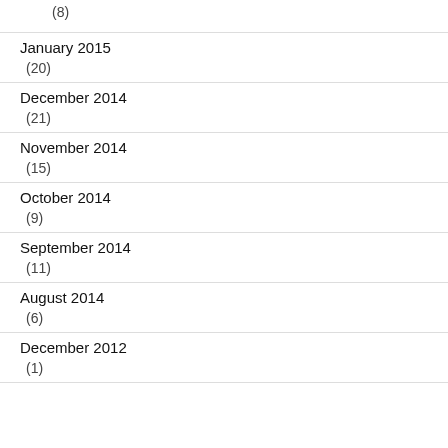(8)
January 2015
(20)
December 2014
(21)
November 2014
(15)
October 2014
(9)
September 2014
(11)
August 2014
(6)
December 2012
(1)